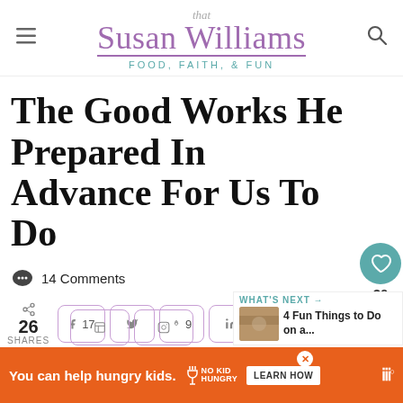[Figure (logo): that Susan Williams blog logo with tagline FOOD, FAITH, & FUN]
The Good Works He Prepared In Advance For Us To Do
14 Comments
26 SHARES
[Figure (infographic): Social share buttons: Facebook 17, Twitter, Pinterest 9, LinkedIn, Reddit; What's Next: 4 Fun Things to Do on a...]
[Figure (infographic): Ad banner: You can help hungry kids. No Kid Hungry. LEARN HOW]